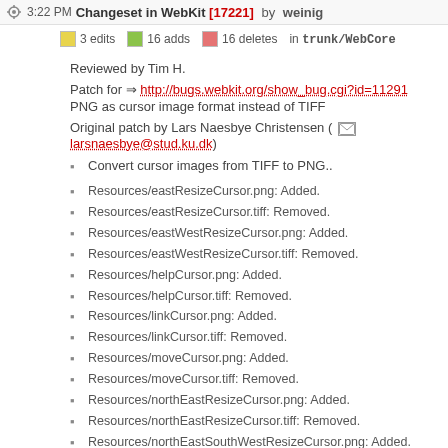3:22 PM Changeset in WebKit [17221] by weinig
3 edits  16 adds  16 deletes  in trunk/WebCore
Reviewed by Tim H.
Patch for => http://bugs.webkit.org/show_bug.cgi?id=11291 PNG as cursor image format instead of TIFF
Original patch by Lars Naesbye Christensen (✉ larsnaesbye@stud.ku.dk)
Convert cursor images from TIFF to PNG..
Resources/eastResizeCursor.png: Added.
Resources/eastResizeCursor.tiff: Removed.
Resources/eastWestResizeCursor.png: Added.
Resources/eastWestResizeCursor.tiff: Removed.
Resources/helpCursor.png: Added.
Resources/helpCursor.tiff: Removed.
Resources/linkCursor.png: Added.
Resources/linkCursor.tiff: Removed.
Resources/moveCursor.png: Added.
Resources/moveCursor.tiff: Removed.
Resources/northEastResizeCursor.png: Added.
Resources/northEastResizeCursor.tiff: Removed.
Resources/northEastSouthWestResizeCursor.png: Added.
Resources/northEastSouthWestResizeCursor.tiff: Remov.
Resources/northResizeCursor.png: Added.
Resources/northResizeCursor.tiff: Removed.